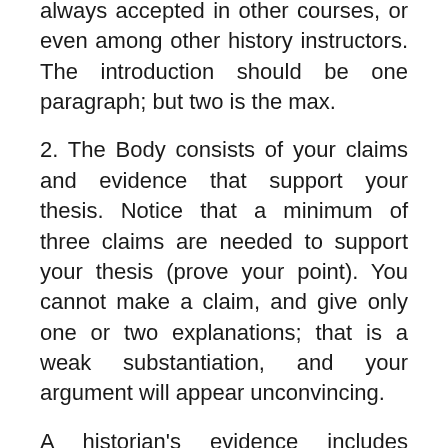always accepted in other courses, or even among other history instructors. The introduction should be one paragraph; but two is the max.
2. The Body consists of your claims and evidence that support your thesis. Notice that a minimum of three claims are needed to support your thesis (prove your point). You cannot make a claim, and give only one or two explanations; that is a weak substantiation, and your argument will appear unconvincing.
A historian's evidence includes primary sources, as well as secondary sources; but Primary Sources hold more value. Make sure that your claims are backed by specific evidence. For instance, when you refer to your sources explain